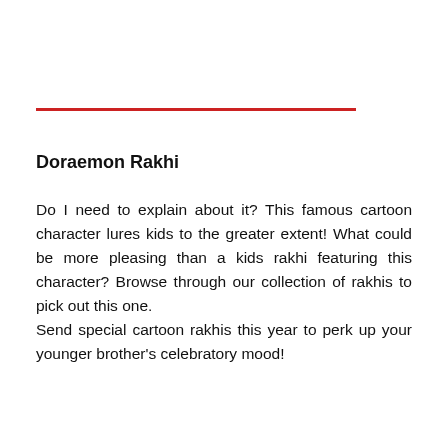Doraemon Rakhi
Do I need to explain about it? This famous cartoon character lures kids to the greater extent! What could be more pleasing than a kids rakhi featuring this character? Browse through our collection of rakhis to pick out this one.
Send special cartoon rakhis this year to perk up your younger brother's celebratory mood!